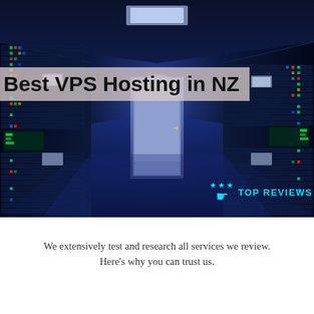[Figure (photo): Server room corridor with tall racks of servers glowing blue on both sides, perspective view toward a white door at the far end. Title overlay reads 'Best VPS Hosting in NZ' with a beige/pink semi-transparent background. Bottom right has a 'TOP REVIEWS' badge with a teal cursor/hand icon and stars.]
Best VPS Hosting in NZ
We extensively test and research all services we review. Here's why you can trust us.